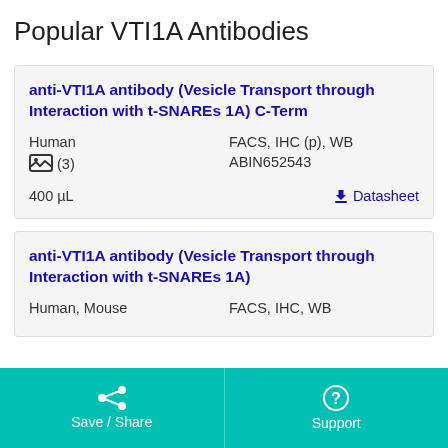Popular VTI1A Antibodies
anti-VTI1A antibody (Vesicle Transport through Interaction with t-SNAREs 1A) C-Term
Human
FACS, IHC (p), WB
(3)
ABIN652543
400 µL
Datasheet
anti-VTI1A antibody (Vesicle Transport through Interaction with t-SNAREs 1A)
Human, Mouse
FACS, IHC, WB
Save / Share
Support